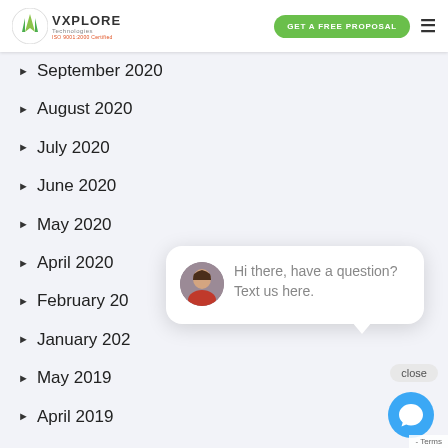VXPLORE Technologies | GET A FREE PROPOSAL
September 2020
August 2020
July 2020
June 2020
May 2020
April 2020
February 20[20]
January 202[0]
May 2019
April 2019
March 2019
Hi there, have a question? Text us here.